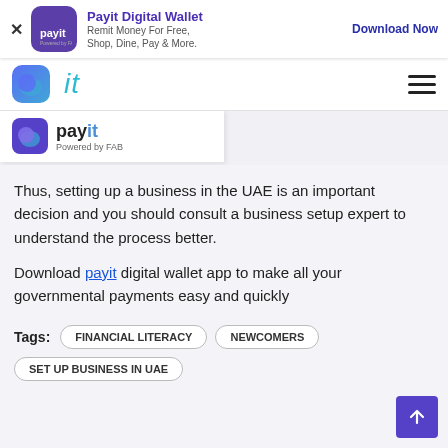[Figure (screenshot): Payit Digital Wallet advertisement banner with logo, tagline 'Remit Money For Free, Shop, Dine, Pay & More.' and 'Download Now' button]
[Figure (logo): Navigation bar with blue gradient app icon, italic 'it' text logo in cyan, and hamburger menu icon]
[Figure (logo): Payit logo with purple icon and 'payit Powered by FAB' branding]
Thus, setting up a business in the UAE is an important decision and you should consult a business setup expert to understand the process better.
Download payit digital wallet app to make all your governmental payments easy and quickly
Tags:  FINANCIAL LITERACY  NEWCOMERS  SET UP BUSINESS IN UAE